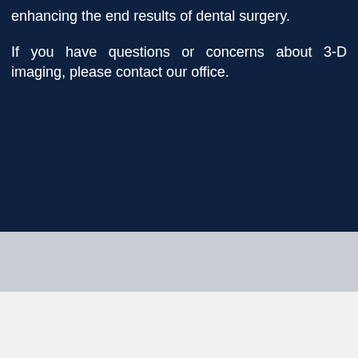enhancing the end results of dental surgery.
If you have questions or concerns about 3-D imaging, please contact our office.